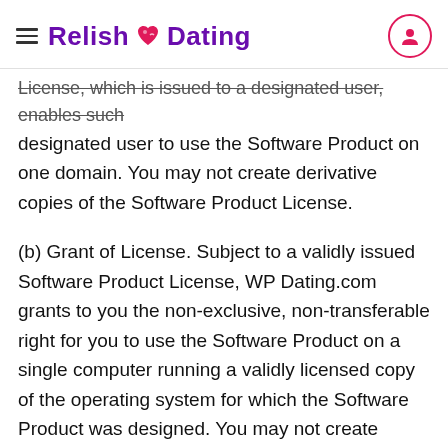≡ Relish 💗 Dating [user icon]
License, which is issued to a designated user, enables such designated user to use the Software Product on one domain. You may not create derivative copies of the Software Product License.
(b) Grant of License. Subject to a validly issued Software Product License, WP Dating.com grants to you the non-exclusive, non-transferable right for you to use the Software Product on a single computer running a validly licensed copy of the operating system for which the Software Product was designed. You may not create derivative copies of the SoftwareProduct. All rights not expressly granted to you are retained by WP Dating.com.
(c) Backup Copy: Software Product. You may make a copy